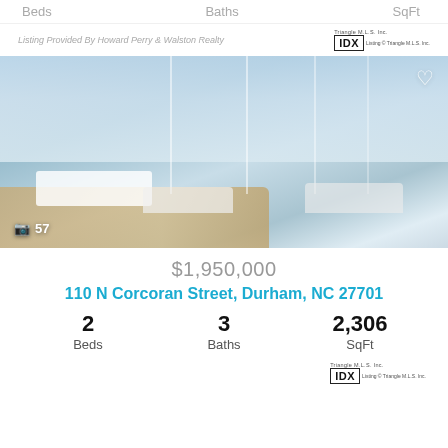Beds   Baths   SqFt
Listing Provided By Howard Perry & Walston Realty
[Figure (photo): Interior photo of a modern high-rise luxury condo with floor-to-ceiling windows, open-plan living area with white kitchen island, seating area with gray pillows, and panoramic city/treetop views. Camera icon with 57 photos count shown at bottom left. Heart/favorite icon at top right.]
$1,950,000
110 N Corcoran Street, Durham, NC 27701
2 Beds   3 Baths   2,306 SqFt